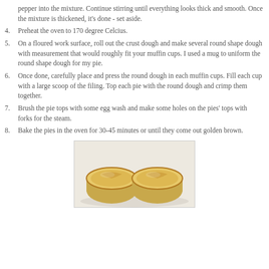pepper into the mixture. Continue stirring until everything looks thick and smooth. Once the mixture is thickened, it's done - set aside.
4. Preheat the oven to 170 degree Celcius.
5. On a floured work surface, roll out the crust dough and make several round shape dough with measurement that would roughly fit your muffin cups. I used a mug to uniform the round shape dough for my pie.
6. Once done, carefully place and press the round dough in each muffin cups. Fill each cup with a large scoop of the filing. Top each pie with the round dough and crimp them together.
7. Brush the pie tops with some egg wash and make some holes on the pies' tops with forks for the steam.
8. Bake the pies in the oven for 30-45 minutes or until they come out golden brown.
[Figure (photo): Two golden-brown mini pies on a white plate, viewed from the side, showing the crimped pastry tops.]